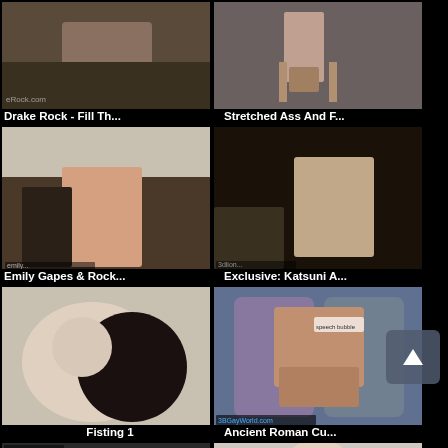[Figure (photo): Thumbnail image - Drake Rock video]
Drake Rock - Fill Th...
[Figure (photo): Thumbnail image - Stretched Ass video]
Stretched Ass And F...
[Figure (photo): Thumbnail image - Emily Gapes video]
Emily Gapes & Rock...
[Figure (photo): Thumbnail image - Katsuni video]
Exclusive: Katsuni A...
[Figure (photo): Thumbnail image - Fisting 1]
Fisting 1
[Figure (photo): Thumbnail image - Ancient Roman Cu... (3D animation)]
Ancient Roman Cu...
[Figure (photo): Thumbnail image - bottom left partial]
[Figure (photo): Thumbnail image - bottom right partial]